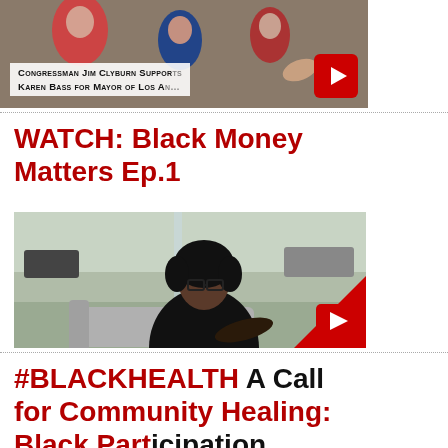[Figure (screenshot): Video thumbnail showing Congressman Jim Clyburn supports Karen Bass for Mayor of Los Angeles, with a YouTube play button in the bottom right corner.]
WATCH: Black Money Matters Ep.1
[Figure (screenshot): Video thumbnail showing a woman with curly hair and glasses sitting on a grey couch, speaking. YouTube play button visible in bottom right corner.]
#BLACKHEALTH A Call for Community Healing: Black Participation...